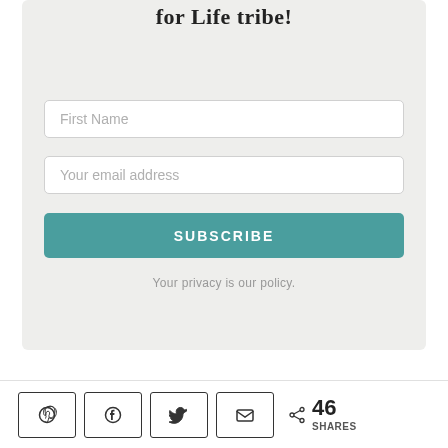for Life tribe!
First Name
Your email address
SUBSCRIBE
Your privacy is our policy.
46 SHARES